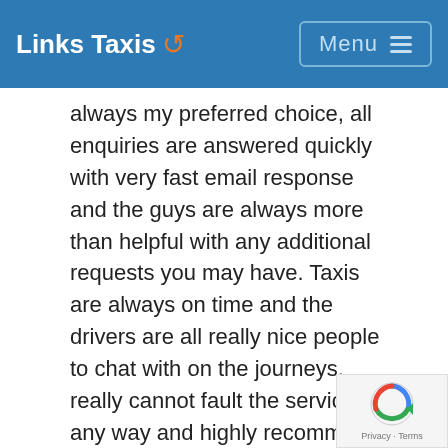Links Taxis  Menu
always my preferred choice, all enquiries are answered quickly with very fast email response and the guys are always more than helpful with any additional requests you may have. Taxis are always on time and the drivers are all really nice people to chat with on the journeys, really cannot fault the service in any way and highly recommend to anyone. Can pay cash or via card with a email link used for card payments. ””
— Tony Luetchford via Google